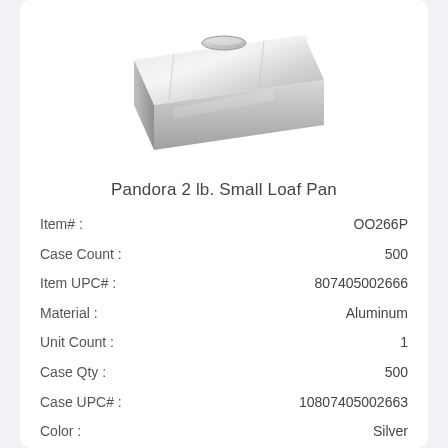[Figure (photo): Silver aluminum small loaf pan viewed from a slight angle, showing the rectangular pan with a shiny metallic surface]
Pandora 2 lb. Small Loaf Pan
| Item# : | OO266P |
| Case Count : | 500 |
| Item UPC# : | 807405002666 |
| Material : | Aluminum |
| Unit Count : | 1 |
| Case Qty : | 500 |
| Case UPC# : | 10807405002663 |
| Color : | Silver |
Login For Pricing